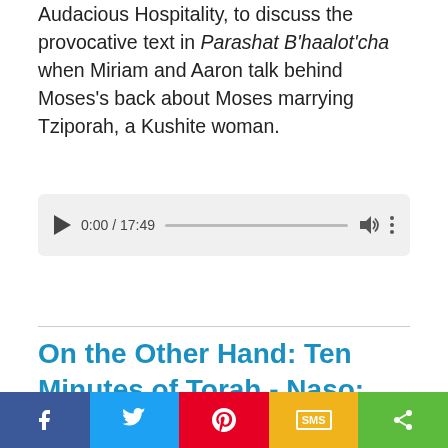Audacious Hospitality, to discuss the provocative text in Parashat B'haalot'cha when Miriam and Aaron talk behind Moses's back about Moses marrying Tziporah, a Kushite woman.
[Figure (other): Audio player widget showing play button, timestamp 0:00 / 17:49, progress bar, volume icon, and options menu]
On the Other Hand: Ten Minutes of Torah - Naso: What is a Blessing?
On the Other Hand: Ten Minutes of Torah
Parashat Naso features a very famous blessing – but what does it mean for one person to bless
f  [Twitter]  [Pinterest]  SMS  [Share]